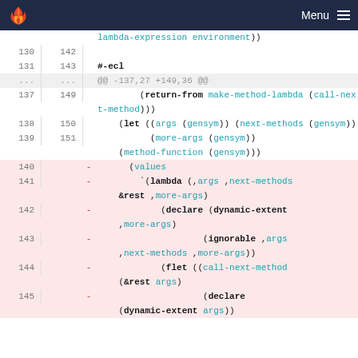GitLab navigation bar with logo and Menu
Code diff view showing lines 130-145 with removed lines highlighted in red. Lines 140-145 show removed code: (values, `(lambda (,args ,next-methods &rest ,more-args), (declare (dynamic-extent ,more-args), (ignorable ,args ,next-methods ,more-args)), (flet ((call-next-method (&rest args), (declare, (dynamic-extent args))